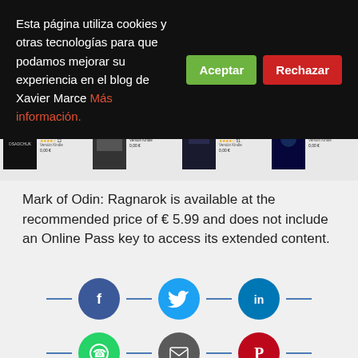Esta página utiliza cookies y otras tecnologías para que podamos mejorar su experiencia en el blog de Xavier Marce Más información.
[Figure (screenshot): Book strip showing 4 book covers with titles, authors, star ratings, and prices in a dark background strip]
Mark of Odin: Ragnarok is available at the recommended price of € 5.99 and does not include an Online Pass key to access its extended content.
[Figure (infographic): Social media sharing icons row 1: Facebook (dark blue circle), Twitter (light blue circle), LinkedIn (blue circle) with horizontal lines between them]
[Figure (infographic): Social media sharing icons row 2: WhatsApp (green circle), Email (gray circle), Pinterest (red circle) with horizontal lines between them]